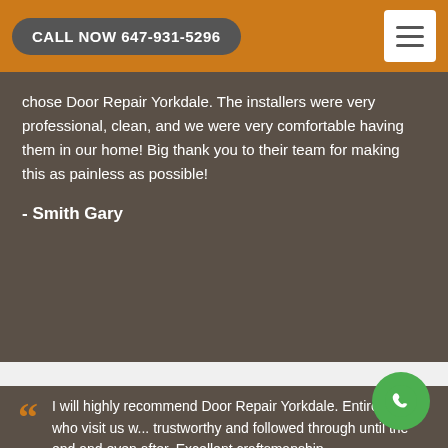CALL NOW 647-931-5296
chose Door Repair Yorkdale. The installers were very professional, clean, and we were very comfortable having them in our home! Big thank you to their team for making this as painless as possible!
- Smith Gary
I will highly recommend Door Repair Yorkdale. Entire team who visit us w... trustworthy and followed through until the end and even after. Excellent craftsmanship